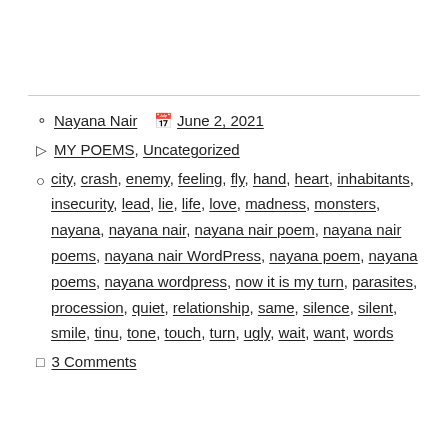Nayana Nair   June 2, 2021
MY POEMS, Uncategorized
city, crash, enemy, feeling, fly, hand, heart, inhabitants, insecurity, lead, lie, life, love, madness, monsters, nayana, nayana nair, nayana nair poem, nayana nair poems, nayana nair WordPress, nayana poem, nayana poems, nayana wordpress, now it is my turn, parasites, procession, quiet, relationship, same, silence, silent, smile, tinu, tone, touch, turn, ugly, wait, want, words
3 Comments